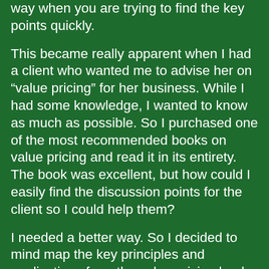way when you are trying to find the key points quickly.
This became really apparent when I had a client who wanted me to advise her on “value pricing” for her business. While I had some knowledge, I wanted to know as much as possible. So I purchased one of the most recommended books on value pricing and read it in its entirety. The book was excellent, but how could I easily find the discussion points for the client so I could help them?
I needed a better way. So I decided to mind map the key principles and applications from the value pricing book. I found it worked superbly. I could easily find all the points I wanted along with my notes on how to implement each point. I